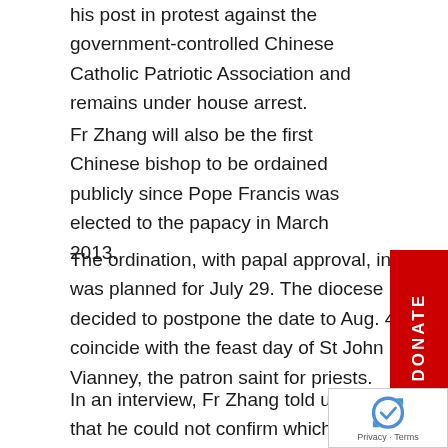his post in protest against the government-controlled Chinese Catholic Patriotic Association and remains under house arrest.
Fr Zhang will also be the first Chinese bishop to be ordained publicly since Pope Francis was elected to the papacy in March 2013.
The ordination, with papal approval, initially was planned for July 29. The diocese decided to postpone the date to Aug. 4 to coincide with the feast day of St John Vianney, the patron saint for priests.
In an interview, Fr Zhang told ucanews.com that he could not confirm which bishops would preside at ordination.